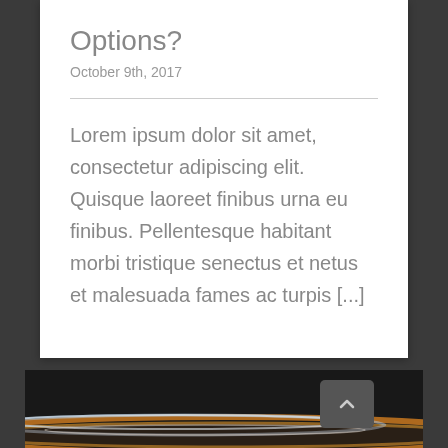Options?
October 9th, 2017
Lorem ipsum dolor sit amet, consectetur adipiscing elit. Quisque laoreet finibus urna eu finibus. Pellentesque habitant morbi tristique senectus et netus et malesuada fames ac turpis [...]
[Figure (illustration): Dark abstract background with glowing light streaks in blue, white, and orange/gold colors at the bottom of the page. A scroll-to-top button with a caret/chevron up icon is visible.]